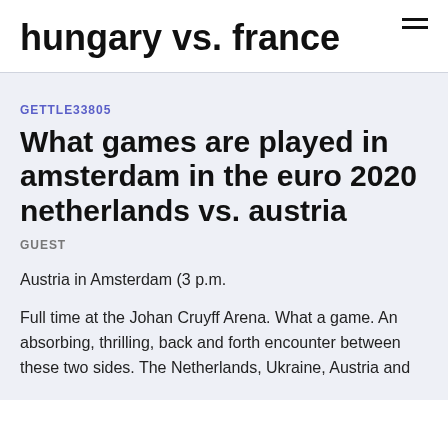hungary vs. france
GETTLE33805
What games are played in amsterdam in the euro 2020 netherlands vs. austria
GUEST
Austria in Amsterdam (3 p.m.
Full time at the Johan Cruyff Arena. What a game. An absorbing, thrilling, back and forth encounter between these two sides. The Netherlands, Ukraine, Austria and